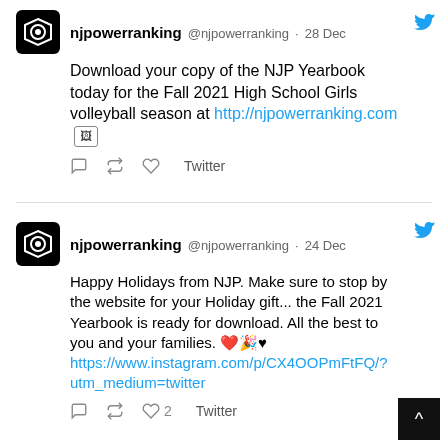njpowerranking @njpowerranking · 28 Dec — Download your copy of the NJP Yearbook today for the Fall 2021 High School Girls volleyball season at http://njpowerranking.com
njpowerranking @njpowerranking · 24 Dec — Happy Holidays from NJP. Make sure to stop by the website for your Holiday gift... the Fall 2021 Yearbook is ready for download. All the best to you and your families. ❤️🎉♥ https://www.instagram.com/p/CX4OOPmFtFQ/?utm_medium=twitter